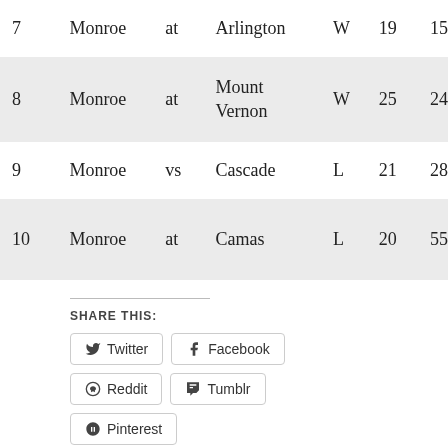| # | Team |  | Opponent | W/L | Pts | Opp |
| --- | --- | --- | --- | --- | --- | --- |
| 7 | Monroe | at | Arlington | W | 19 | 15 |
| 8 | Monroe | at | Mount Vernon | W | 25 | 24 |
| 9 | Monroe | vs | Cascade | L | 21 | 28 |
| 10 | Monroe | at | Camas | L | 20 | 55 |
SHARE THIS:
Twitter
Facebook
Reddit
Tumblr
Pinterest
Loading…